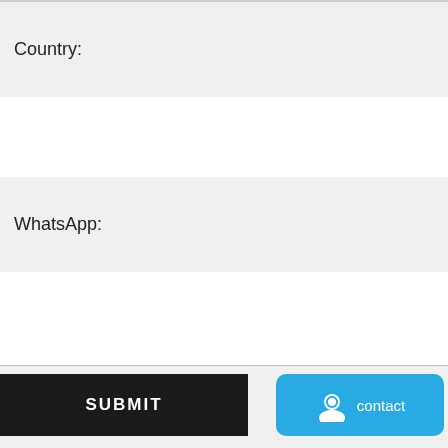Country:
WhatsApp:
* Message:
Please include details like brand, model, quantity and etc., so that we can quote the best price.
SUBMIT
contact